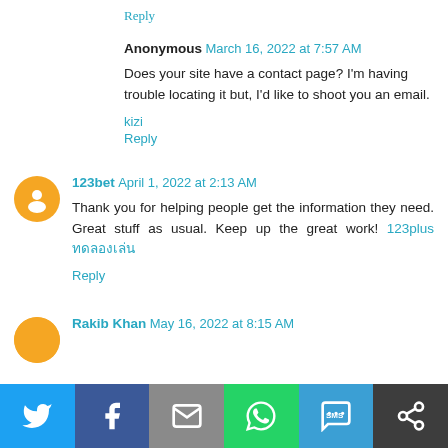Reply
Anonymous  March 16, 2022 at 7:57 AM
Does your site have a contact page? I'm having trouble locating it but, I'd like to shoot you an email.
kizi
Reply
123bet  April 1, 2022 at 2:13 AM
Thank you for helping people get the information they need. Great stuff as usual. Keep up the great work! 123plus ทดลองเล่น
Reply
Rakib Khan  May 16, 2022 at 8:15 AM
[Figure (infographic): Social share bar with Twitter, Facebook, Email, WhatsApp, SMS, and Share buttons]